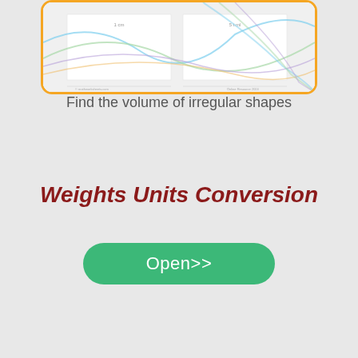[Figure (illustration): A worksheet thumbnail showing volume of irregular shapes, displayed in a rounded card with orange border]
Find the volume of irregular shapes
[Figure (other): Green rounded button with text 'Open>>']
Weights Units Conversion
[Figure (illustration): A worksheet thumbnail titled 'Weights Convertion From One To Different Units' with conversion exercises, displayed in a rounded card with orange border]